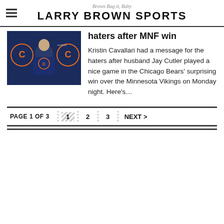Brown Bag it, Baby — LARRY BROWN SPORTS
[Figure (photo): Man in Chicago Bears navy t-shirt at press conference podium with Bears logos in background]
haters after MNF win
Kristin Cavallari had a message for the haters after husband Jay Cutler played a nice game in the Chicago Bears' surprising win over the Minnesota Vikings on Monday night. Here's…
PAGE 1 OF 3   1   2   3   NEXT >